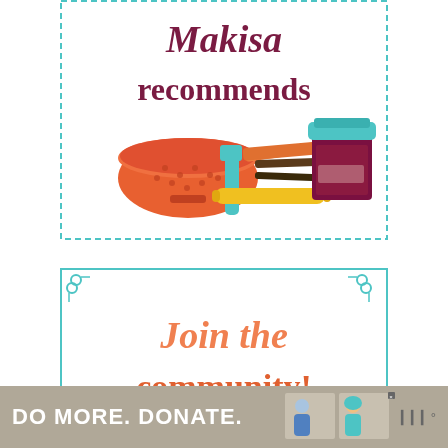[Figure (illustration): Top card with dashed teal border containing cursive title 'Makisa recommends' in dark red/maroon text, and kitchen items illustration below: an orange colander/strainer, colorful spatulas/utensils in teal and orange, a yellow rolling pin, and a dark jar with teal lid]
[Figure (illustration): Bottom card with solid teal border and teal corner ornaments, containing text 'Join the community!' in coral/orange italic and bold styling]
[Figure (infographic): Advertisement banner at bottom: gray/tan background with white bold text 'DO MORE. DONATE.' with small illustrated images of people and a close button, plus Wm meter icon on right]